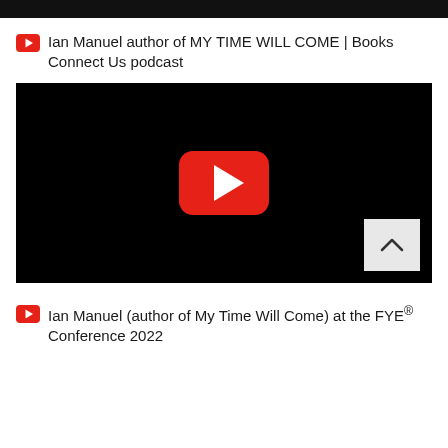[Figure (screenshot): Black top bar strip at top of page]
Ian Manuel author of MY TIME WILL COME | Books Connect Us podcast
[Figure (screenshot): Embedded YouTube video player with black background and red YouTube play button in center, with a light gray scroll/collapse button in bottom right corner]
Ian Manuel (author of My Time Will Come) at the FYE® Conference 2022